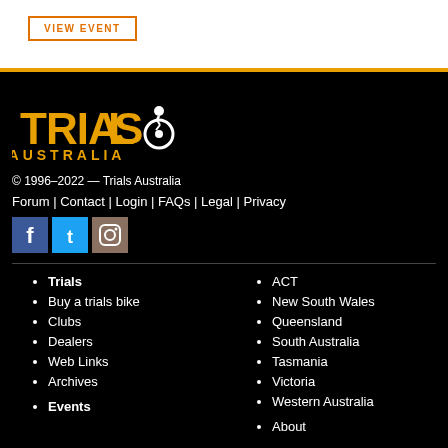VIEW EVENT
[Figure (logo): Trials Australia logo — stylized golden text 'TRIALS' with a motorcycle rider silhouette, and 'AUSTRALIA' below in golden letters]
© 1996–2022 — Trials Australia
Forum | Contact | Login | FAQs | Legal | Privacy
[Figure (illustration): Social media icons: Facebook (blue), Twitter (light blue), Instagram (brown/gray)]
Trials
Buy a trials bike
Clubs
Dealers
Web Links
Archives
Events
ACT
New South Wales
Queensland
South Australia
Tasmania
Victoria
Western Australia
About